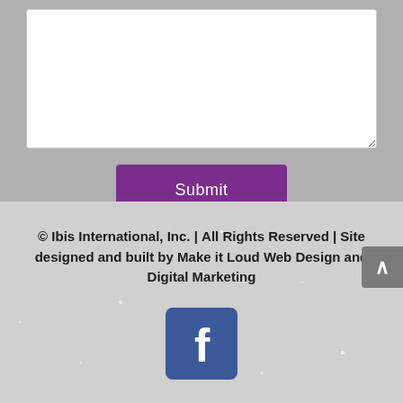[Figure (screenshot): A text area input box with white background and resize handle at bottom-right corner]
[Figure (screenshot): A purple Submit button centered on a grey background]
© Ibis International, Inc. | All Rights Reserved | Site designed and built by Make it Loud Web Design and Digital Marketing
[Figure (logo): Facebook logo icon — white 'f' on blue rounded square background]